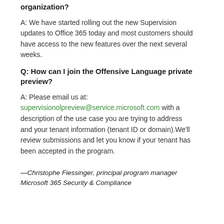organization?
A: We have started rolling out the new Supervision updates to Office 365 today and most customers should have access to the new features over the next several weeks.
Q: How can I join the Offensive Language private preview?
A: Please email us at: supervisionolpreview@service.microsoft.com with a description of the use case you are trying to address and your tenant information (tenant ID or domain).We'll review submissions and let you know if your tenant has been accepted in the program.
—Christophe Fiessinger, principal program manager Microsoft 365 Security & Compliance